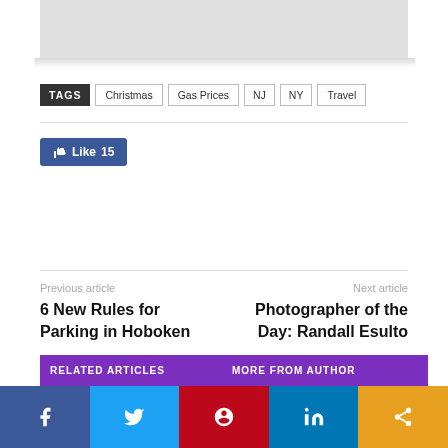[Figure (other): Top portion of an image, clipped at top of page]
TAGS  Christmas  Gas Prices  NJ  NY  Travel
[Figure (other): Facebook Like button showing 15 likes]
Previous article
6 New Rules for Parking in Hoboken
Next article
Photographer of the Day: Randall Esulto
RELATED ARTICLES
MORE FROM AUTHOR
[Figure (other): Social share bar with Facebook, Twitter, Pinterest, LinkedIn, and share buttons]